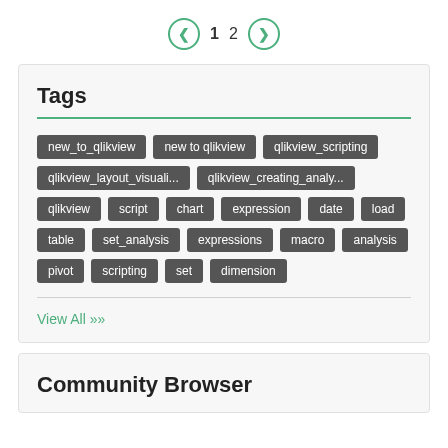< 1 2 >
Tags
new_to_qlikview
new to qlikview
qlikview_scripting
qlikview_layout_visuali...
qlikview_creating_analy...
qlikview
script
chart
expression
date
load
table
set_analysis
expressions
macro
analysis
pivot
scripting
set
dimension
View All >>
Community Browser